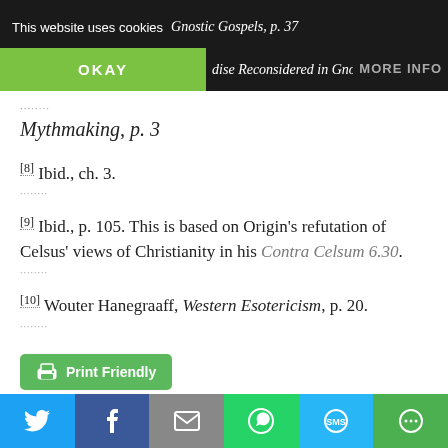This website uses cookies
...Pagels, The Gnostic Gospels, p. 37
OKAY
dise Reconsidered in Gnostic
Mythmaking, p. 3
[8] Ibid., ch. 3.
[9] Ibid., p. 105. This is based on Origin’s refutation of Celsus’ views of Christianity in his Contra Celsum 6.30.
[10] Wouter Hanegraaff, Western Esotericism, p. 20.
[Figure (other): Print Friendly button]
[Figure (other): Social sharing bar with Twitter, Facebook, Email, WhatsApp, SMS, and other icons]